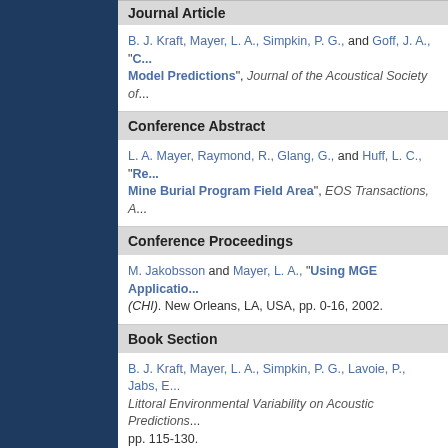Journal Article
B. J. Kraft, Mayer, L. A., Simpkin, P. G., and Goff, J. A., "C... Model Predictions", Journal of the Acoustical Society of...
Conference Abstract
L. A. Mayer, Raymond, R., Glang, G., and Huff, L. C., "Re... Mine Burial Program Field Area", EOS Transactions, A...
Conference Proceedings
M. Jakobsson and Mayer, L. A., "Using MGE Applicatio... (CHI). New Orleans, LA, USA, pp. 0-16, 2002.
Book Section
B. J. Kraft, Mayer, L. A., Simpkin, P. G., Lavoie, P., Jabs, E... Littoral Environmental Variability on Acoustic Predictions... pp. 115-130.
Report
J. V. Gardner, Hughes Clarke, J. E., Mayer, L. A., and Dartr... Soto Canyon, Northeastern Gulf of Mexico", U.S. G...